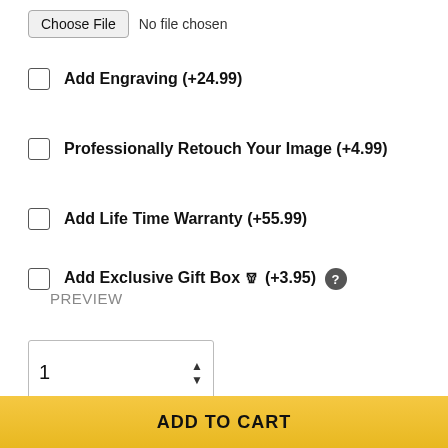[Figure (screenshot): File input control showing 'Choose File' button and 'No file chosen' text]
Add Engraving (+24.99)
Professionally Retouch Your Image (+4.99)
Add Life Time Warranty (+55.99)
Add Exclusive Gift Box (+3.95)
PREVIEW
[Figure (screenshot): Quantity spinner input showing value 1 with up/down arrows]
ADD TO CART